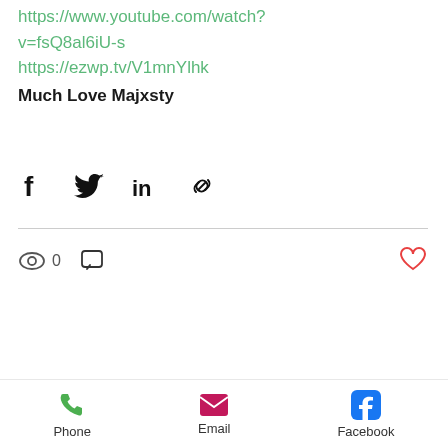https://www.youtube.com/watch?v=fsQ8al6iU-s
https://ezwp.tv/V1mnYlhk
Much Love Majxsty
[Figure (other): Social share icons: Facebook, Twitter, LinkedIn, and link/chain icon]
[Figure (other): Post stats row: eye/views icon with count 0, comment icon, and heart/like icon]
[Figure (other): Pagination dots: one black filled dot and one gray filled dot]
Phone  Email  Facebook